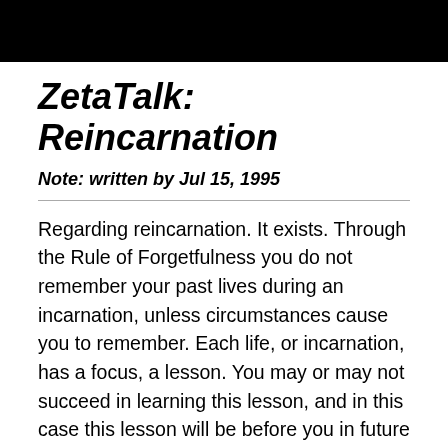ZetaTalk: Reincarnation
Note: written by Jul 15, 1995
Regarding reincarnation. It exists. Through the Rule of Forgetfulness you do not remember your past lives during an incarnation, unless circumstances cause you to remember. Each life, or incarnation, has a focus, a lesson. You may or may not succeed in learning this lesson, and in this case this lesson will be before you in future lives. Some entities learn faster than others. Some backslide, and need to repeat prior lessons. Progress in the lessons may be made in either the Service-to-Self or Service-to-Other path. Some lessons are harder to learn